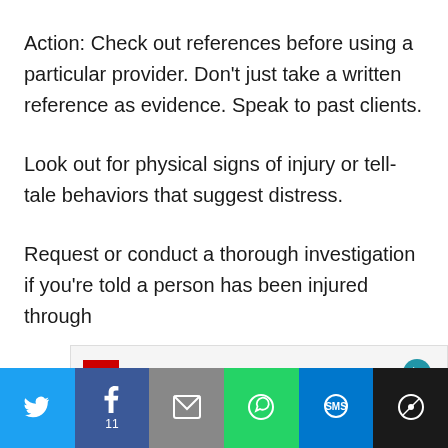Action: Check out references before using a particular provider. Don't just take a written reference as evidence. Speak to past clients.
Look out for physical signs of injury or tell-tale behaviors that suggest distress.
Request or conduct a thorough investigation if you're told a person has been injured through
[Figure (infographic): Beauty & Wellness Deals advertisement banner with red icon]
Social share bar with Twitter, Facebook (11), Email, WhatsApp, SMS, More buttons